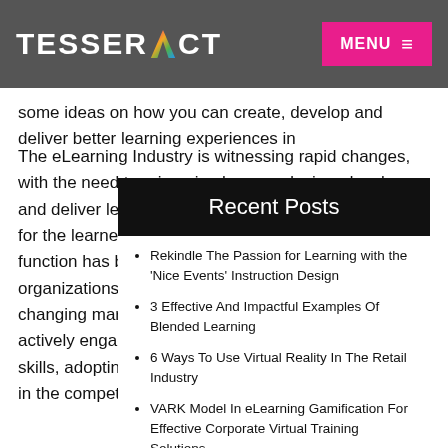TESSERACT | MENU
some ideas on how you can create, develop and deliver better learning experiences in
Recent Posts
The eLearning Industry is witnessing rapid changes, with the need to reimagine how we design, develop and deliver learning experiences for better outcomes for the learners and the organizations. The L&D function has become extremely crucial in preparing organizations to face the challenges arising from changing market dynamics. Organizations that are actively engaging their workforce in learning new skills, adopting new technologies to be better prepared in the competitive environment.
Rekindle The Passion for Learning with the 'Nice Events' Instruction Design
3 Effective And Impactful Examples Of Blended Learning
6 Ways To Use Virtual Reality In The Retail Industry
VARK Model In eLearning Gamification For Effective Corporate Virtual Training Solutions